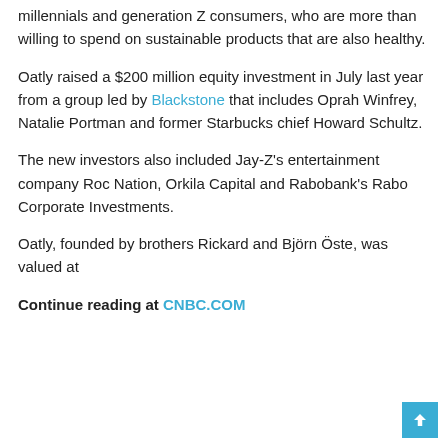millennials and generation Z consumers, who are more than willing to spend on sustainable products that are also healthy.
Oatly raised a $200 million equity investment in July last year from a group led by Blackstone that includes Oprah Winfrey, Natalie Portman and former Starbucks chief Howard Schultz.
The new investors also included Jay-Z's entertainment company Roc Nation, Orkila Capital and Rabobank's Rabo Corporate Investments.
Oatly, founded by brothers Rickard and Björn Öste, was valued at
Continue reading at CNBC.COM